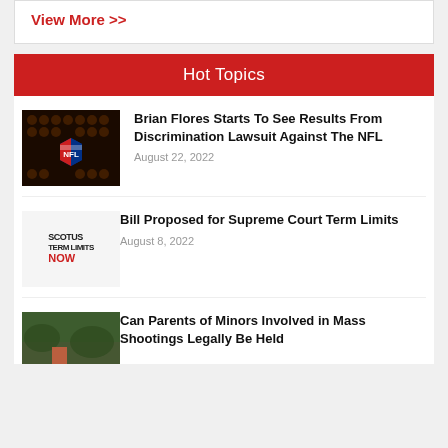View More >>
Hot Topics
[Figure (photo): NFL logo on dark background with footballs]
Brian Flores Starts To See Results From Discrimination Lawsuit Against The NFL
August 22, 2022
[Figure (photo): Protest sign reading SCOTUS TERM LIMITS NOW]
Bill Proposed for Supreme Court Term Limits
August 8, 2022
[Figure (photo): Outdoor scene photo]
Can Parents of Minors Involved in Mass Shootings Legally Be Held